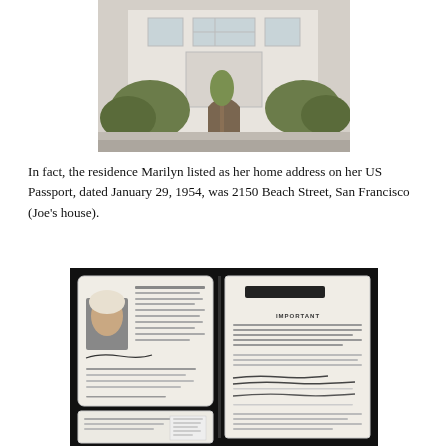[Figure (photo): Exterior photo of a white multi-story house with green hedges and trees, viewed from the street. Appears to be a San Francisco residential building.]
In fact, the residence Marilyn listed as her home address on her US Passport, dated January 29, 1954, was 2150 Beach Street, San Francisco (Joe's house).
[Figure (photo): Photo of an open US Passport on a black background. The left page shows a photograph of Marilyn Monroe with handwritten signature. The right page shows an 'IMPORTANT' section with a handwritten address reading '2150 Beach Street, San Francisco, Calif...']